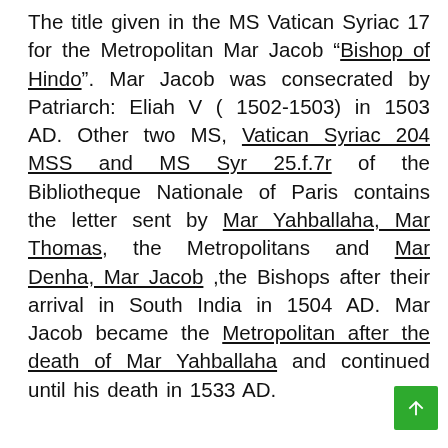The title given in the MS Vatican Syriac 17 for the Metropolitan Mar Jacob “Bishop of Hindo”. Mar Jacob was consecrated by Patriarch: Eliah V ( 1502-1503) in 1503 AD. Other two MS, Vatican Syriac 204 MSS and MS Syr 25.f.7r of the Bibliotheque Nationale of Paris contains the letter sent by Mar Yahballaha, Mar Thomas, the Metropolitans and Mar Denha, Mar Jacob ,the Bishops after their arrival in South India in 1504 AD. Mar Jacob became the Metropolitan after the death of Mar Yahballaha and continued until his death in 1533 AD.